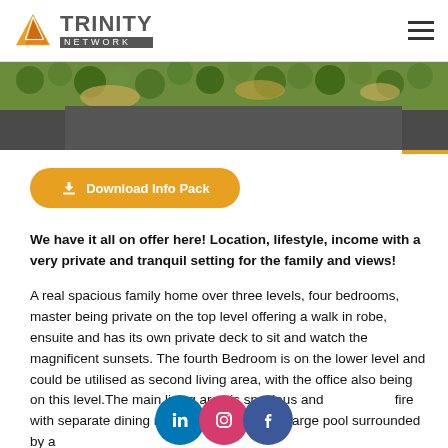Trinity Network
[Figure (photo): Aerial view of green trees and landscape with dark overlay bars at bottom]
Download Info Pack
We have it all on offer here! Location, lifestyle, income with a very private and tranquil setting for the family and views!
A real spacious family home over three levels, four bedrooms, master being private on the top level offering a walk in robe, ensuite and has its own private deck to sit and watch the magnificent sunsets. The fourth Bedroom is on the lower level and could be utilised as second living area, with the office also being on this level.The main living area is spacious and includes a fire with separate dining room opening out to a large pool surrounded by a
[Figure (other): LinkedIn, Instagram, Facebook social media icons row]